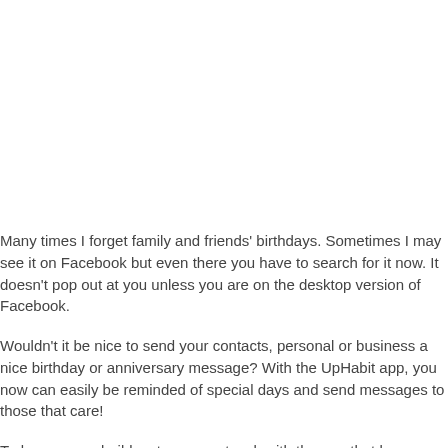Many times I forget family and friends' birthdays. Sometimes I may see it on Facebook but even there you have to search for it now. It doesn't pop out at you unless you are on the desktop version of Facebook.
Wouldn't it be nice to send your contacts, personal or business a nice birthday or anniversary message? With the UpHabit app, you now can easily be reminded of special days and send messages to those that care!
Today you can build a stronger network with the app that keeps you connected. It's a FREE Professional Network Manager (PNM).
With the UpHabit app you now can easily be reminded of special days and send messages to those that care! #uphabit